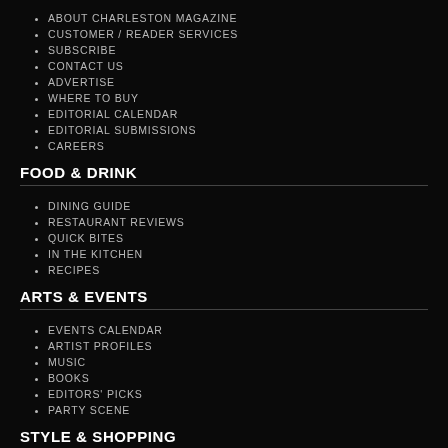ABOUT CHARLESTON MAGAZINE
CUSTOMER / READER SERVICES
SUBSCRIBE
CONTACT US
ADVERTISE
WHERE TO BUY
EDITORIAL CALENDAR
EDITORIAL SUBMISSIONS
CAREERS
FOOD & DRINK
DINING GUIDE
RESTAURANT REVIEWS
QUICK BITES
IN THE KITCHEN
RECIPES
ARTS & EVENTS
EVENTS CALENDAR
ARTIST PROFILES
MUSIC
BOOKS
EDITORS' PICKS
PARTY SCENE
STYLE & SHOPPING
TRENDS